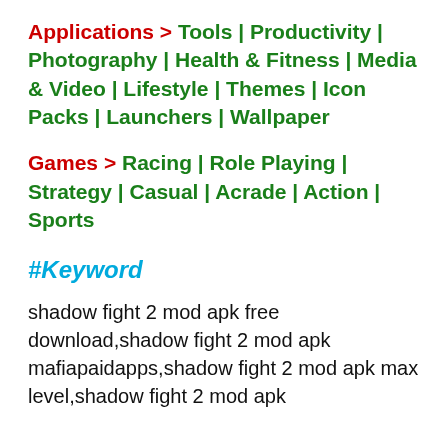Applications > Tools | Productivity | Photography | Health & Fitness | Media & Video | Lifestyle | Themes | Icon Packs | Launchers | Wallpaper
Games > Racing | Role Playing | Strategy | Casual | Acrade | Action | Sports
#Keyword
shadow fight 2 mod apk free download,shadow fight 2 mod apk mafiapaidapps,shadow fight 2 mod apk max level,shadow fight 2 mod apk